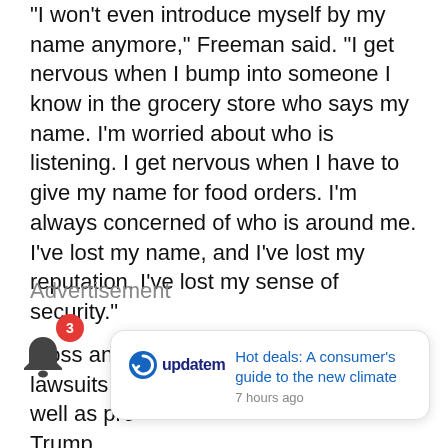'I won't even introduce myself by my name anymore,' Freeman said. 'I get nervous when I bump into someone I know in the grocery store who says my name. I'm worried about who is listening. I get nervous when I have to give my name for food orders. I'm always concerned of who is around me. I've lost my name, and I've lost my reputation. I've lost my sense of security.'
Advertisement
Moss and Freeman filed defamation lawsuits last year against Giuliani as well as pro-Trump media outlets, including One America News Network (OAN), for an undisclosed settlement, OAN aired a segment reporting